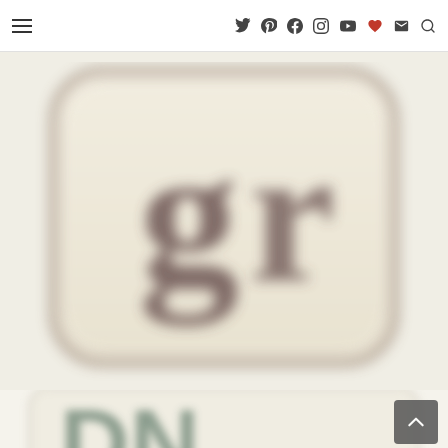Navigation bar with hamburger menu and social icons: Twitter, Pinterest, Facebook, Instagram, YouTube, Heart/Wishlist, Email, Search
[Figure (logo): Large blurred Goodreads-style 'gr' app icon — a beige/cream rounded square with dark serif letters 'g' and 'r' rendered in a vintage stamp style]
[Figure (logo): Partially visible second logo at bottom — a light beige rounded square with large sage/muted green block letters 'DN' or similar, cropped at bottom of page]
[Figure (other): Scroll-to-top button: dark gray rounded square with white upward chevron arrow, positioned at bottom right]